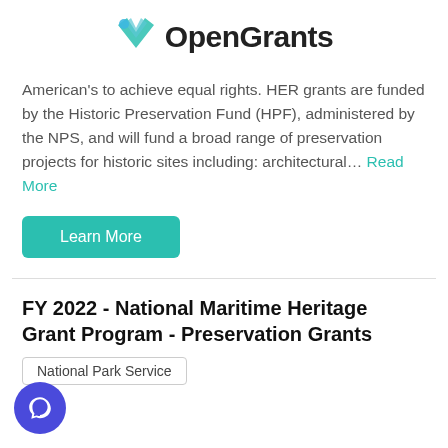OpenGrants
American's to achieve equal rights. HER grants are funded by the Historic Preservation Fund (HPF), administered by the NPS, and will fund a broad range of preservation projects for historic sites including: architectural... Read More
Learn More
FY 2022 - National Maritime Heritage Grant Program - Preservation Grants
National Park Service